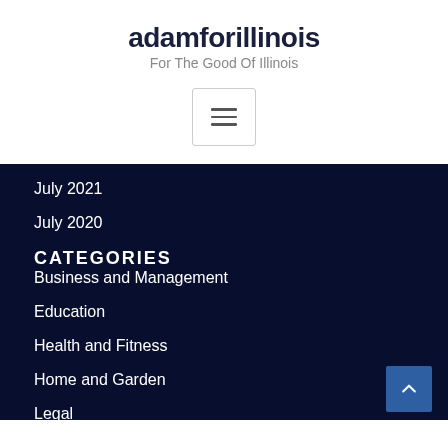adamforillinois
For The Good Of Illinois
[Figure (other): Hamburger menu button with three horizontal lines]
July 2021
July 2020
CATEGORIES
Business and Management
Education
Health and Fitness
Home and Garden
Legal